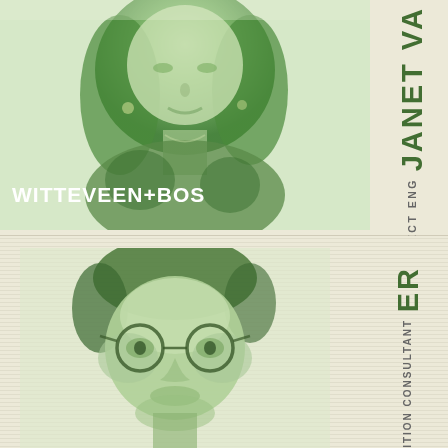[Figure (photo): Green duotone portrait photo of a woman (Janet Va...) with light background, green-tinted, in the top half of the page. Logo text 'WITTEVEEN+BOS' overlaid in white.]
WITTEVEEN+BOS
JANET VA...
PROJECT ENG...
[Figure (photo): Green duotone portrait photo of a man wearing round glasses in the bottom half of the page, with horizontal scan lines effect.]
...ER
...ITION CONSULTANT